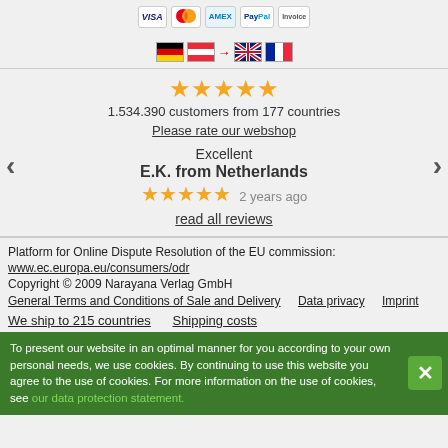[Figure (other): Payment method icons: VISA, Mastercard, AMEX, PayPal, Invoice]
[Figure (other): Country flag icons: Germany, Austria (arrow pointing right), UK, France]
1.534.390 customers from 177 countries
Please rate our webshop
Excellent
E.K. from Netherlands
2 years ago
read all reviews
Platform for Online Dispute Resolution of the EU commission:
www.ec.europa.eu/consumers/odr
Copyright © 2009 Narayana Verlag GmbH
General Terms and Conditions of Sale and Delivery   Data privacy   Imprint
We ship to 215 countries   Shipping costs
To present our website in an optimal manner for you according to your own personal needs, we use cookies. By continuing to use this website you agree to the use of cookies. For more information on the use of cookies, see our data protection statement.